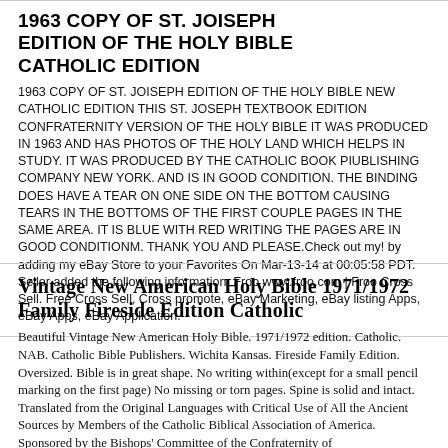1963 COPY OF ST. JOISEPH EDITION OF THE HOLY BIBLE CATHOLIC EDITION
1963 COPY OF ST. JOISEPH EDITION OF THE HOLY BIBLE NEW CATHOLIC EDITION THIS ST. JOSEPH TEXTBOOK EDITION CONFRATERNITY VERSION OF THE HOLY BIBLE IT WAS PRODUCED IN 1963 AND HAS PHOTOS OF THE HOLY LAND WHICH HELPS IN STUDY. IT WAS PRODUCED BY THE CATHOLIC BOOK PIUBLISHING COMPANY NEW YORK. AND IS IN GOOD CONDITION. THE BINDING DOES HAVE A TEAR ON ONE SIDE ON THE BOTTOM CAUSING TEARS IN THE BOTTOMS OF THE FIRST COUPLE PAGES IN THE SAME AREA. IT IS BLUE WITH RED WRITING THE PAGES ARE IN GOOD CONDITIONM. THANK YOU AND PLEASE.Check out my! by adding my eBay Store to your Favorites On Mar-13-14 at 00:05:58 PDT. Seller added the following information: Froo www.froo.com | Froo Cross Sell. Free Cross Sell, Cross promote, eBay Marketing, eBay listing Apps, eBay Apps, eBay Application.
Vintage New American Holy Bible 1971/1972 Family Fireside Edition Catholic
Beautiful Vintage New American Holy Bible. 1971/1972 edition. Catholic. NAB. Catholic Bible Publishers. Wichita Kansas. Fireside Family Edition. Oversized. Bible is in great shape. No writing within(except for a small pencil marking on the first page) No missing or torn pages. Spine is solid and intact. Translated from the Original Languages with Critical Use of All the Ancient Sources by Members of the Catholic Biblical Association of America. Sponsored by the Bishops' Committee of the Confraternity of